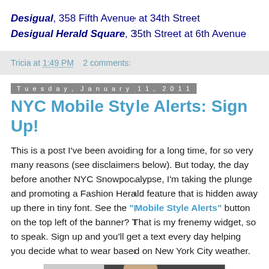Desigual, 358 Fifth Avenue at 34th Street
Desigual Herald Square, 35th Street at 6th Avenue
Tricia at 1:49 PM   2 comments:
Tuesday, January 11, 2011
NYC Mobile Style Alerts: Sign Up!
This is a post I've been avoiding for a long time, for so very many reasons (see disclaimers below). But today, the day before another NYC Snowpocalypse, I'm taking the plunge and promoting a Fashion Herald feature that is hidden away up there in tiny font. See the "Mobile Style Alerts" button on the top left of the banner? That is my frenemy widget, so to speak. Sign up and you'll get a text every day helping you decide what to wear based on New York City weather.
[Figure (photo): Partial photo of a person, cropped at bottom of page]